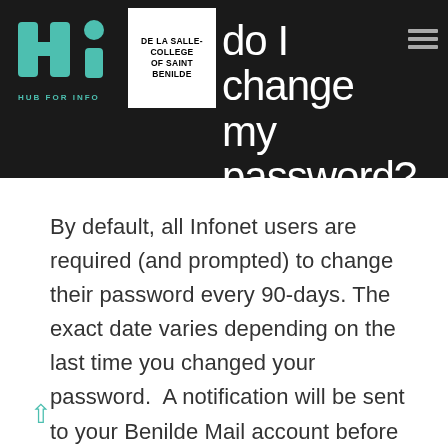Hub for Info — De La Salle College of Saint Benilde — How do I change my password?
How do I change my password?
By default, all Infonet users are required (and prompted) to change their password every 90-days. The exact date varies depending on the last time you changed your password.  A notification will be sent to your Benilde Mail account before the scheduled password expiration (which is 30 days, 14 days, and 7 days). If you fail [...]